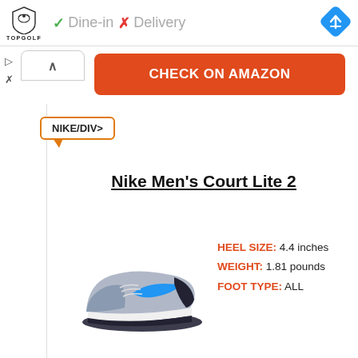[Figure (logo): Topgolf shield logo with bird and text TOPGOLF]
✓ Dine-in  ✗ Delivery
[Figure (illustration): Blue diamond navigation arrow icon]
▷
✗
∧
CHECK ON AMAZON
NIKE/DIV>
Nike Men's Court Lite 2
[Figure (photo): Nike Men's Court Lite 2 gray and blue tennis shoe]
HEEL SIZE: 4.4 inches
WEIGHT:  1.81 pounds
FOOT TYPE: ALL